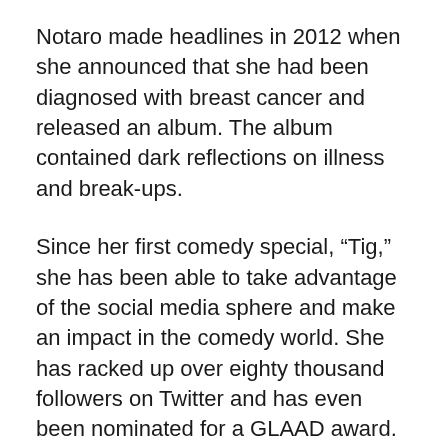Notaro made headlines in 2012 when she announced that she had been diagnosed with breast cancer and released an album. The album contained dark reflections on illness and break-ups.
Since her first comedy special, “Tig,” she has been able to take advantage of the social media sphere and make an impact in the comedy world. She has racked up over eighty thousand followers on Twitter and has even been nominated for a GLAAD award. She has appeared on Ellen and The Late Show with Stephen Colbert and has contributed to numerous public radio programs. In addition to her Netflix series, she toured the world and sold out venues such as Carnegie Hall.